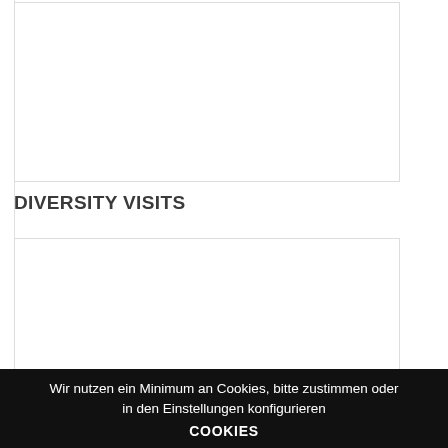[Figure (other): Empty image placeholder box at the top of the page]
DIVERSITY VISITS
[Figure (other): Empty image placeholder box below the section header]
Wir nutzen ein Minimum an Cookies, bitte zustimmen oder in den Einstellungen konfigurieren COOKIES